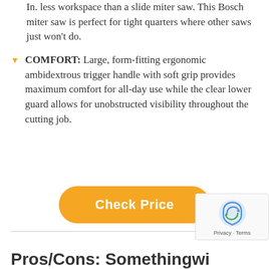In. less workspace than a slide miter saw. This Bosch miter saw is perfect for tight quarters where other saws just won't do.
COMFORT: Large, form-fitting ergonomic ambidextrous trigger handle with soft grip provides maximum comfort for all-day use while the clear lower guard allows for unobstructed visibility throughout the cutting job.
[Figure (other): Orange rounded rectangle button with white bold text reading 'Check Price']
Pros/Cons: Something with...